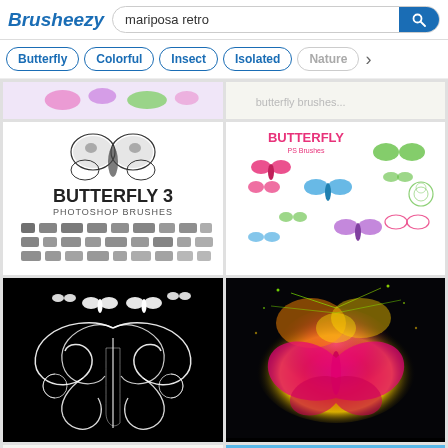Brusheezy — mariposa retro search page
Butterfly
Colorful
Insect
Isolated
Nature
[Figure (screenshot): Butterfly 3 Photoshop Brushes - black and white butterfly brush set]
[Figure (screenshot): Butterfly PS Brushes - colorful butterfly illustrations in pink, blue, green, purple]
[Figure (screenshot): White ornate butterfly design on black background]
[Figure (screenshot): Colorful neon butterfly splash art on black background]
[Figure (screenshot): Butterfly brush set partial - light background]
[Figure (screenshot): Butterfly photo partial - blue sky background]